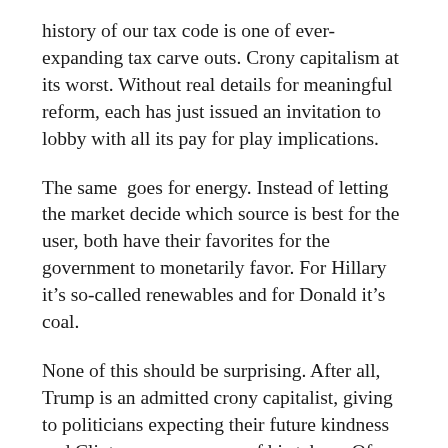history of our tax code is one of ever-expanding tax carve outs. Crony capitalism at its worst. Without real details for meaningful reform, each has just issued an invitation to lobby with all its pay for play implications.
The same  goes for energy. Instead of letting the market decide which source is best for the user, both have their favorites for the government to monetarily favor. For Hillary it’s so-called renewables and for Donald it’s coal.
None of this should be surprising. After all, Trump is an admitted crony capitalist, giving to politicians expecting their future kindness and Clintons were among of his takers. Of greater importance is their shared mercantilist view of